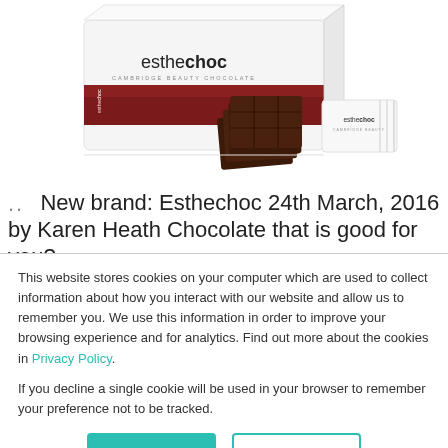[Figure (photo): Product photo of Esthechoc Cambridge beauty chocolate box, individual chocolate squares stacked, and a single wrapped piece, on white background]
.. New brand: Esthechoc 24th March, 2016 by Karen Heath Chocolate that is good for you?
This website stores cookies on your computer which are used to collect information about how you interact with our website and allow us to remember you. We use this information in order to improve your browsing experience and for analytics. Find out more about the cookies in Privacy Policy.
If you decline a single cookie will be used in your browser to remember your preference not to be tracked.
Accept
Decline